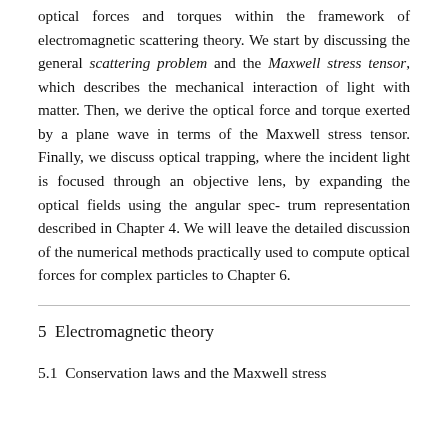optical forces and torques within the framework of electromagnetic scattering theory. We start by discussing the general scattering problem and the Maxwell stress tensor, which describes the mechanical interaction of light with matter. Then, we derive the optical force and torque exerted by a plane wave in terms of the Maxwell stress tensor. Finally, we discuss optical trapping, where the incident light is focused through an objective lens, by expanding the optical fields using the angular spec- trum representation described in Chapter 4. We will leave the detailed discussion of the numerical methods practically used to compute optical forces for complex particles to Chapter 6.
5  Electromagnetic theory
5.1  Conservation laws and the Maxwell stress